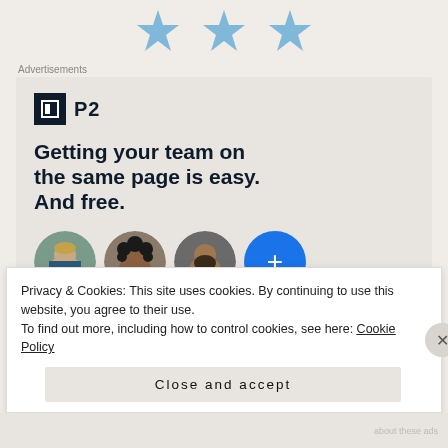[Figure (illustration): Three blue star icons arranged horizontally at the top of the page]
Advertisements
[Figure (infographic): P2 advertisement box with P2 logo, headline 'Getting your team on the same page is easy. And free.' and three circular profile photos plus a blue plus button]
Privacy & Cookies: This site uses cookies. By continuing to use this website, you agree to their use.
To find out more, including how to control cookies, see here: Cookie Policy
Close and accept